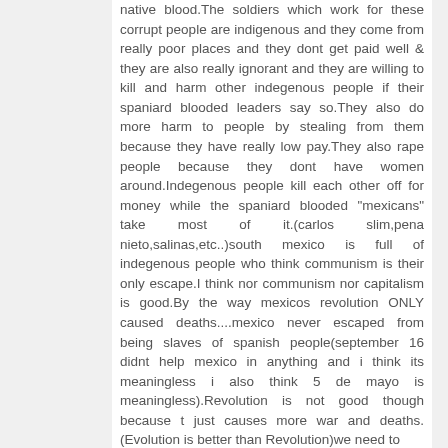native blood.The soldiers which work for these corrupt people are indigenous and they come from really poor places and they dont get paid well & they are also really ignorant and they are willing to kill and harm other indegenous people if their spaniard blooded leaders say so.They also do more harm to people by stealing from them because they have really low pay.They also rape people because they dont have women around.Indegenous people kill each other off for money while the spaniard blooded "mexicans" take most of it.(carlos slim,pena nieto,salinas,etc..)south mexico is full of indegenous people who think communism is their only escape.I think nor communism nor capitalism is good.By the way mexicos revolution ONLY caused deaths....mexico never escaped from being slaves of spanish people(september 16 didnt help mexico in anything and i think its meaningless i also think 5 de mayo is meaningless).Revolution is not good though because t just causes more war and deaths. (Evolution is better than Revolution)we need to